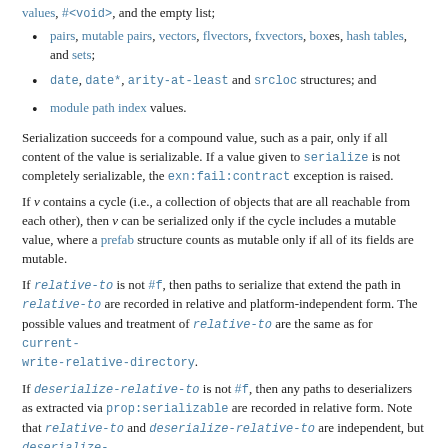pairs, mutable pairs, vectors, flvectors, fxvectors, boxes, hash tables, and sets;
date, date*, arity-at-least and srcloc structures; and
module path index values.
Serialization succeeds for a compound value, such as a pair, only if all content of the value is serializable. If a value given to serialize is not completely serializable, the exn:fail:contract exception is raised.
If v contains a cycle (i.e., a collection of objects that are all reachable from each other), then v can be serialized only if the cycle includes a mutable value, where a prefab structure counts as mutable only if all of its fields are mutable.
If relative-to is not #f, then paths to serialize that extend the path in relative-to are recorded in relative and platform-independent form. The possible values and treatment of relative-to are the same as for current-write-relative-directory.
If deserialize-relative-to is not #f, then any paths to deserializers as extracted via prop:serializable are recorded in relative form. Note that relative-to and deserialize-relative-to are independent, but deserialize-relative-to defaults to relative-to.
The serialize and deserialize functions currently do not handle certain cyclic values that read and write can handle, such as '#0=(#0#).